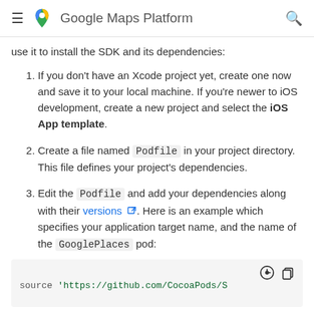Google Maps Platform
use it to install the SDK and its dependencies:
If you don't have an Xcode project yet, create one now and save it to your local machine. If you're newer to iOS development, create a new project and select the iOS App template.
Create a file named Podfile in your project directory. This file defines your project's dependencies.
Edit the Podfile and add your dependencies along with their versions. Here is an example which specifies your application target name, and the name of the GooglePlaces pod:
[Figure (screenshot): Code block showing: source 'https://github.com/CocoaPods/S... with brightness and copy icons]